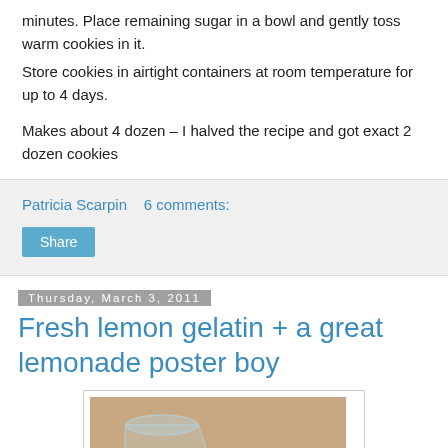minutes. Place remaining sugar in a bowl and gently toss warm cookies in it.
Store cookies in airtight containers at room temperature for up to 4 days.
Makes about 4 dozen – I halved the recipe and got exact 2 dozen cookies
Patricia Scarpin    6 comments:
Share
Thursday, March 3, 2011
Fresh lemon gelatin + a great lemonade poster boy
[Figure (photo): Photo of a glass with lemon gelatin on a light brown/tan background]